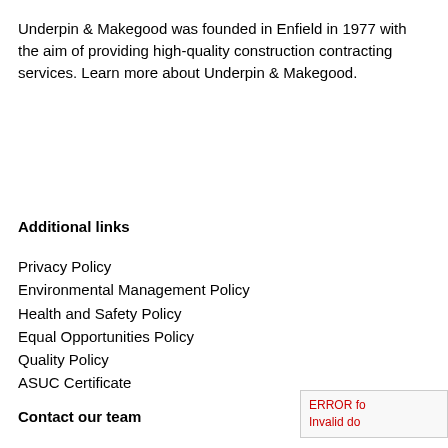Underpin & Makegood was founded in Enfield in 1977 with the aim of providing high-quality construction contracting services. Learn more about Underpin & Makegood.
Additional links
Privacy Policy
Environmental Management Policy
Health and Safety Policy
Equal Opportunities Policy
Quality Policy
ASUC Certificate
Contact our team
ERROR fo
Invalid do